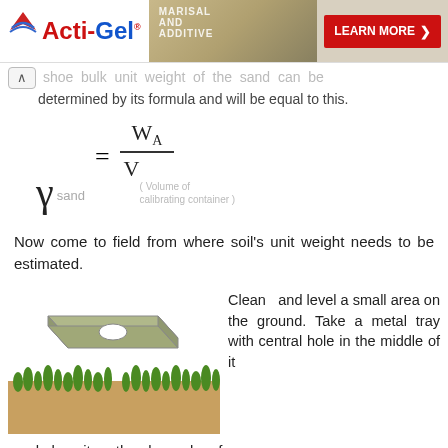[Figure (screenshot): Advertisement banner for Acti-Gel product with logo, background image of construction material, and a red 'Learn More' button]
...shoe bulk unit weight of the sand can be determined by its formula and will be equal to this.
Now come to field from where soil's unit weight needs to be estimated.
[Figure (illustration): Illustration of a metal tray with a central hole floating above a cross-section of ground with grass and soil]
Clean and level a small area on the ground. Take a metal tray with central hole in the middle of it and place it on the cleaned surface.